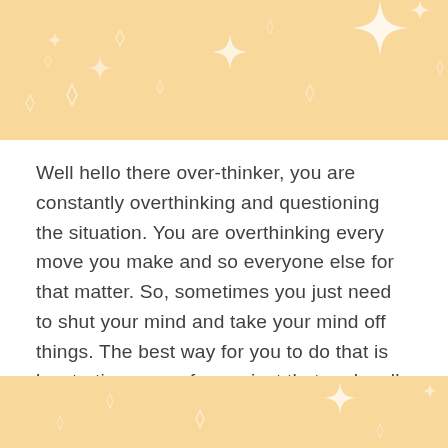[Figure (illustration): Decorative peach/gold banner with white sparkle and diamond star shapes scattered across it]
Well hello there over-thinker, you are constantly overthinking and questioning the situation. You are overthinking every move you make and so everyone else for that matter. So, sometimes you just need to shut your mind and take your mind off things. The best way for you to do that is by starting a new fun project that grabs all your attention.
Libra: (September 23-October 22)
[Figure (illustration): Decorative peach/gold banner (bottom portion) with white sparkle shapes]